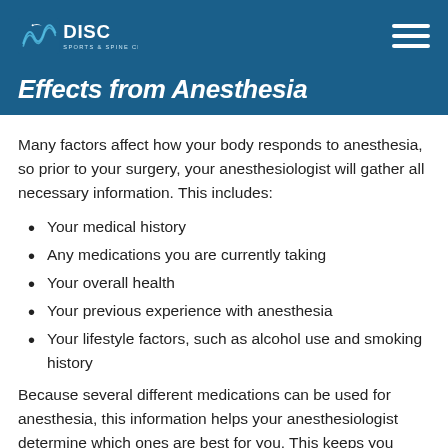DISC Sports & Spine Center
Effects from Anesthesia
Many factors affect how your body responds to anesthesia, so prior to your surgery, your anesthesiologist will gather all necessary information. This includes:
Your medical history
Any medications you are currently taking
Your overall health
Your previous experience with anesthesia
Your lifestyle factors, such as alcohol use and smoking history
Because several different medications can be used for anesthesia, this information helps your anesthesiologist determine which ones are best for you. This keeps you